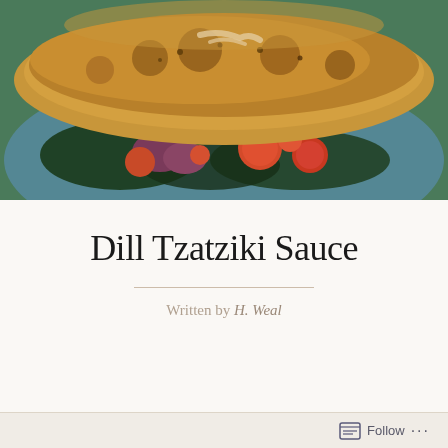[Figure (photo): Food photo showing a breaded/crusted fish or chicken fillet on top of a colorful salad with tomatoes, red onions, and dark leafy greens on a blue plate]
Dill Tzatziki Sauce
Written by H. Weal
After living more than two months under quarantine, my family is starting to shake
Follow